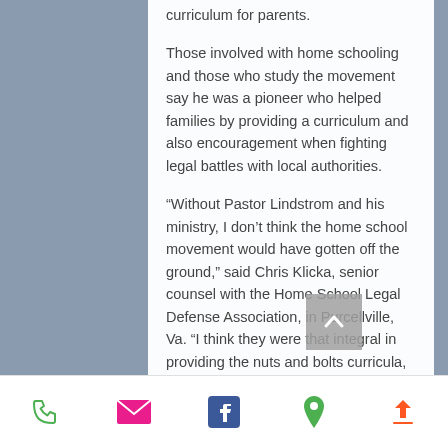curriculum for parents.
Those involved with home schooling and those who study the movement say he was a pioneer who helped families by providing a curriculum and also encouragement when fighting legal battles with local authorities.
“Without Pastor Lindstrom and his ministry, I don’t think the home school movement would have gotten off the ground,” said Chris Klicka, senior counsel with the Home School Legal Defense Association, in Purcellville, Va. “I think they were that integral in providing the nuts and bolts curricula, and also the spirit to hold on.”
Brian Ray, president of the National